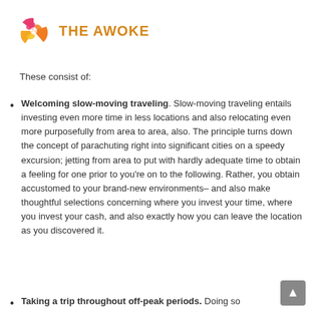[Figure (logo): The Awoke logo: circular swirl icon in pink/orange/yellow with text 'THE AWOKE' in orange to the right]
These consist of:
Welcoming slow-moving traveling. Slow-moving traveling entails investing even more time in less locations and also relocating even more purposefully from area to area, also. The principle turns down the concept of parachuting right into significant cities on a speedy excursion; jetting from area to put with hardly adequate time to obtain a feeling for one prior to you’re on to the following. Rather, you obtain accustomed to your brand-new environments– and also make thoughtful selections concerning where you invest your time, where you invest your cash, and also exactly how you can leave the location as you discovered it.
Taking a trip throughout off-peak periods. Doing so...